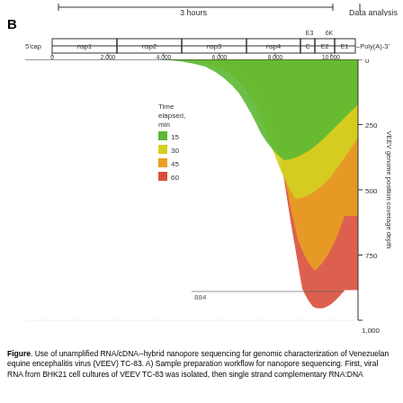[Figure (area-chart): Area chart showing VEEV genome position (x-axis, 0-11000) vs coverage depth (y-axis, 0-1000, inverted) for four time points: 15 min (green), 30 min (yellow), 45 min (orange), 60 min (red). Coverage starts near position 4000-5000 and extends to the 3' end. Max depth shown is 884.]
Figure. Use of unamplified RNA/cDNA--hybrid nanopore sequencing for genomic characterization of Venezuelan equine encephalitis virus (VEEV) TC-83. A) Sample preparation workflow for nanopore sequencing. First, viral RNA from BHK21 cell cultures of VEEV TC-83 was isolated, then single strand complementary DNA (cDNA) was synthesized. Then, either RNA:DNA